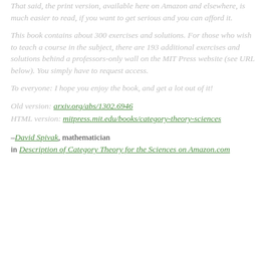That said, the print version, available here on Amazon and elsewhere, is much easier to read, if you want to get serious and you can afford it.
This book contains about 300 exercises and solutions. For those who wish to teach a course in the subject, there are 193 additional exercises and solutions behind a professors-only wall on the MIT Press website (see URL below). You simply have to request access.
To everyone: I hope you enjoy the book, and get a lot out of it!
Old version: arxiv.org/abs/1302.6946
HTML version: mitpress.mit.edu/books/category-theory-sciences
– David Spivak, mathematician
in Description of Category Theory for the Sciences on Amazon.com